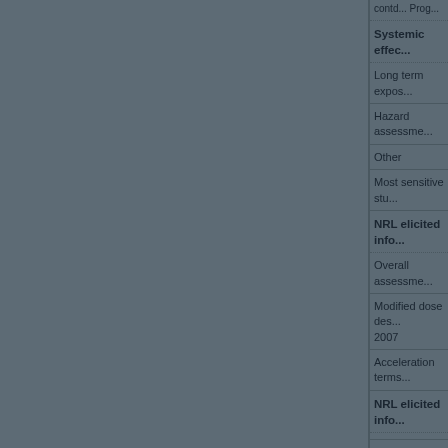contd...
Systemic effects
Long term exposure...
Hazard assessment...
Other
Most sensitive...
NRL elicited information
Overall assessment...
Modified dose des... 2007
Acceleration terms...
NRL elicited information
Local effects
Long term exposure...